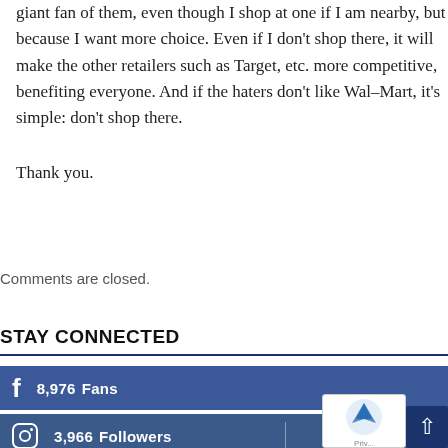giant fan of them, even though I shop at one if I am nearby, but because I want more choice. Even if I don't shop there, it will make the other retailers such as Target, etc. more competitive, benefiting everyone. And if the haters don't like Wal–Mart, it's simple: don't shop there.
Thank you.
Comments are closed.
STAY CONNECTED
[Figure (infographic): Facebook social bar showing 8,976 Fans]
[Figure (infographic): Instagram social bar showing 3,966 Followers]